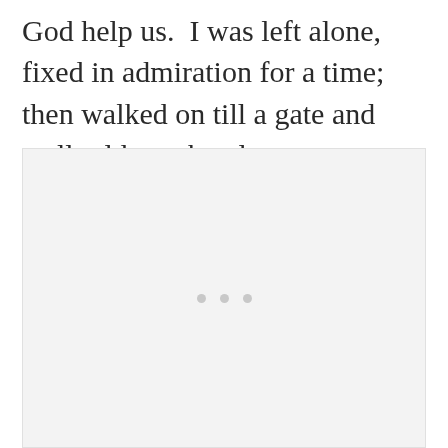God help us.  I was left alone, fixed in admiration for a time; then walked on till a gate and wall told me the glen was terminated. Returned, and took a second view of the enchanted spot.
[Figure (photo): A large light gray rectangular image placeholder with three small gray dots centered near the middle-lower area of the image, suggesting a loading or empty image state.]